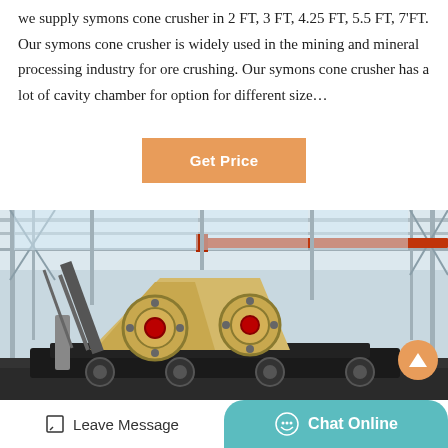we supply symons cone crusher in 2 FT, 3 FT, 4.25 FT, 5.5 FT, 7'FT. Our symons cone crusher is widely used in the mining and mineral processing industry for ore crushing. Our symons cone crusher has a lot of cavity chamber for option for different size…
Get Price
[Figure (photo): Industrial machinery — a jaw crusher mounted on a mobile chassis inside a large steel-framed factory/warehouse with overhead cranes and orange beams. A round orange 'up' arrow button is overlaid at bottom-right.]
Leave Message
Chat Online